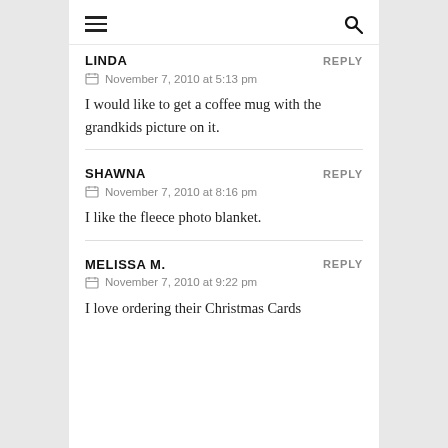≡  🔍
LINDA
November 7, 2010 at 5:13 pm
I would like to get a coffee mug with the grandkids picture on it.
SHAWNA
November 7, 2010 at 8:16 pm
I like the fleece photo blanket.
MELISSA M.
November 7, 2010 at 9:22 pm
I love ordering their Christmas Cards